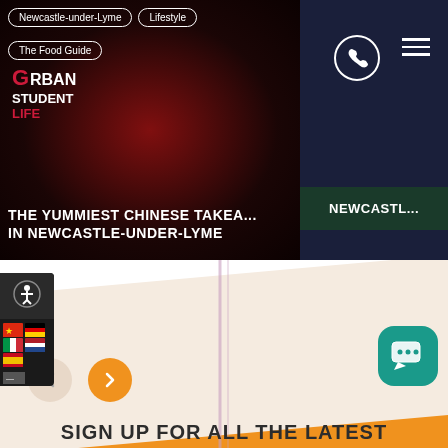[Figure (screenshot): Website screenshot of Urban Student Life showing article cards with navigation, tags, and decorative diagonal sections. Top article: 'The Yummiest Chinese Takeaways in Newcastle-under-Lyme'. Tags: 'Newcastle-under-Lyme', 'Lifestyle', 'The Food Guide'. Right partial card shows 'NEWCASTL...' label. Bottom orange section with 'SIGN UP FOR ALL THE LATEST' text. Accessibility widget bottom-left, chat bubble bottom-right.]